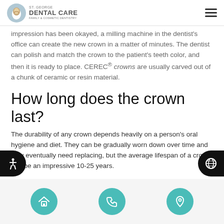ST. GEORGE DENTAL CARE FAMILY & COSMETIC DENTISTRY
impression has been okayed, a milling machine in the dentist's office can create the new crown in a matter of minutes. The dentist can polish and match the crown to the patient's teeth color, and then it is ready to place. CEREC® crowns are usually carved out of a chunk of ceramic or resin material.
How long does the crown last?
The durability of any crown depends heavily on a person's oral hygiene and diet. They can be gradually worn down over time and may eventually need replacing, but the average lifespan of a crown can be an impressive 10-25 years.
What are advantages of some...